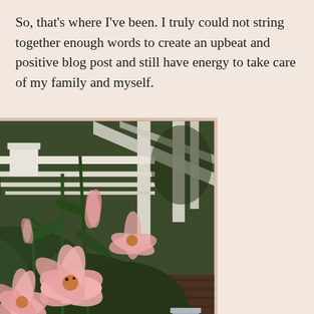So, that's where I've been. I truly could not string together enough words to create an upbeat and positive blog post and still have energy to take care of my family and myself.
[Figure (photo): Photograph of pink lily flowers blooming in front of a white wooden deck railing, with dark wood deck boards visible in the background and green foliage surrounding the flowers.]
We've still been living frugally -- who hasn't during the pandemic when you couldn't go out shopping, eat in restaurants, go to the movies, theme parks, or any other activity that has an admission fee.